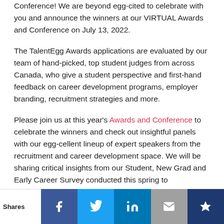Conference! We are beyond egg-cited to celebrate with you and announce the winners at our VIRTUAL Awards and Conference on July 13, 2022.
The TalentEgg Awards applications are evaluated by our team of hand-picked, top student judges from across Canada, who give a student perspective and first-hand feedback on career development programs, employer branding, recruitment strategies and more.
Please join us at this year's Awards and Conference to celebrate the winners and check out insightful panels with our egg-cellent lineup of expert speakers from the recruitment and career development space. We will be sharing critical insights from our Student, New Grad and Early Career Survey conducted this spring to
[Figure (infographic): Social sharing bar with Shares label and icons for Facebook, Twitter, LinkedIn, Email, and a crown/bookmark icon, each on colored backgrounds.]